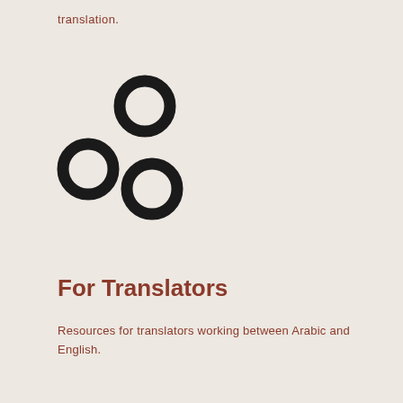translation.
[Figure (illustration): Three circle/bubble icons arranged in a triangular cluster, representing sharing or network connections]
For Translators
Resources for translators working between Arabic and English.
[Figure (illustration): Grid/dashboard icon with two columns, representing a structured layout or flashcard grid]
Advertisements
[Figure (photo): MAC Cosmetics advertisement banner with lipsticks and SHOP NOW button]